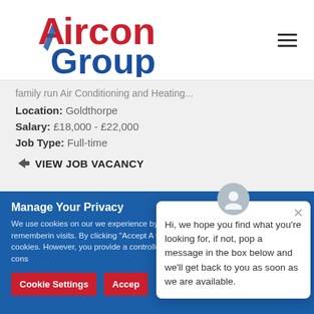[Figure (logo): Aircon Group logo with red 'Aircon' text and blue 'Group' text, with a blue arrow/chevron element]
family run Air Conditioning and Heating...
Location: Goldthorpe
Salary: £18,000 - £22,000
Job Type: Full-time
➨ VIEW JOB VACANCY
Manage Your Privacy
We use cookies on our we experience by remembering visits. By clicking "Accept A the cookies. However, you provide a controlled cons
Cookie Settings
Accep
Hi, we hope you find what you're looking for, if not, pop a message in the box below and we'll get back to you as soon as we are available.